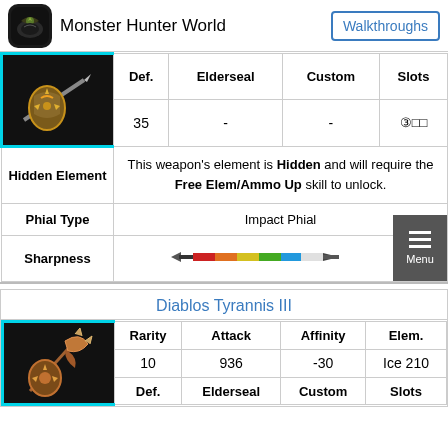Monster Hunter World  Walkthroughs
|  | Def. | Elderseal | Custom | Slots |
| --- | --- | --- | --- | --- |
| [weapon image] | 35 | - | - | ③□□ |
This weapon's element is Hidden and will require the Free Elem/Ammo Up skill to unlock.
| Hidden Element |  |
| --- | --- |
| Phial Type | Impact Phial |
| Sharpness | [sharpness bar] |
| Diablos Tyrannis III |
| --- |
|  | Rarity | Attack | Affinity | Elem. |
| --- | --- | --- | --- | --- |
| [weapon image] | 10 | 936 | -30 | Ice 210 |
|  | Def. | Elderseal | Custom | Slots |